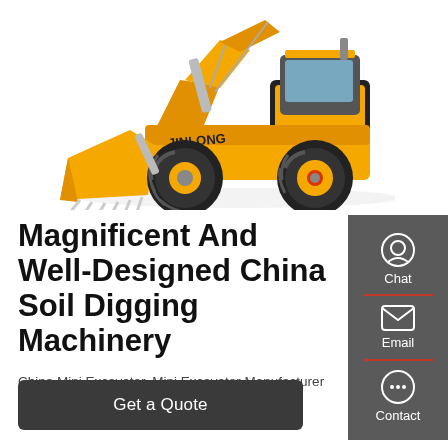[Figure (photo): Yellow JINLONG front loader/wheel loader construction machinery on white background]
Magnificent And Well-Designed China Soil Digging Machinery
China Mini Excavator, Mini Excavator Manufacturer
[Figure (infographic): Sidebar with Chat, Email, and Contact icons on dark grey background]
Get a Quote